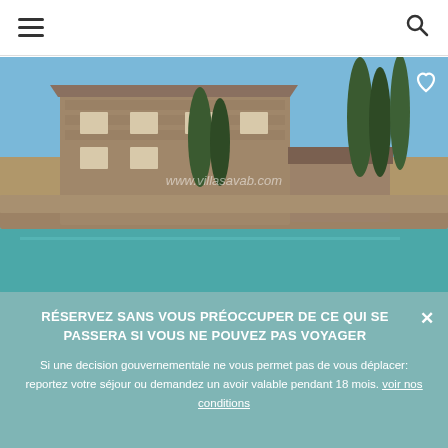≡  🔍
[Figure (photo): Provençal stone farmhouse with a rectangular pool in the foreground, cypress trees, and blue sky. Watermark text visible on image.]
RÉSERVEZ SANS VOUS PRÉOCCUPER DE CE QUI SE PASSERA SI VOUS NE POUVEZ PAS VOYAGER
Si une decision gouvernementale ne vous permet pas de vous déplacer: reportez votre séjour ou demandez un avoir valable pendant 18 mois. voir nos conditions